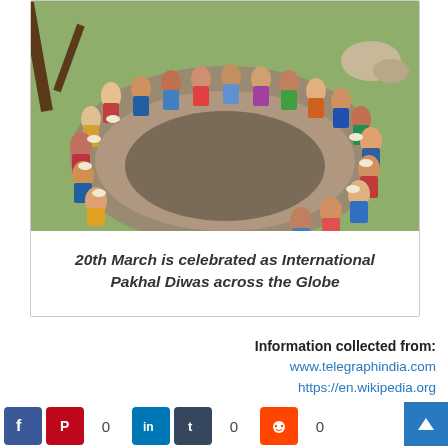[Figure (photo): Group of people sitting in a circle on a large flat rock outdoors, eating from plates, surrounded by trees and open ground.]
20th March is celebrated as International Pakhal Diwas across the Globe
Information collected from:
www.telegraphindia.com
https://en.wikipedia.org
https://www.odishastory.com/